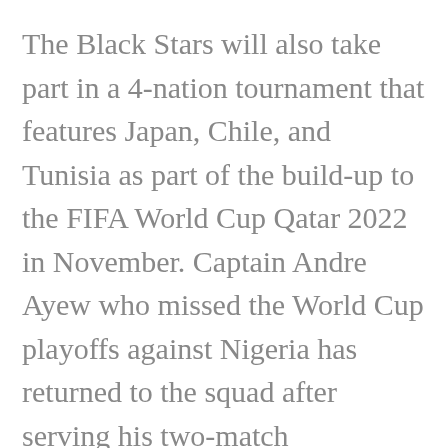The Black Stars will also take part in a 4-nation tournament that features Japan, Chile, and Tunisia as part of the build-up to the FIFA World Cup Qatar 2022 in November. Captain Andre Ayew who missed the World Cup playoffs against Nigeria has returned to the squad after serving his two-match suspension.
Also, returning to the squad are Mubarak Wakasso, Jonathan Mensah, and Kamaldeen Sulemana. The three players have not featured for the Black Stars since the Africa Cup of Nations in Cameroon. Accra Hearts of Oak's Daniel Afriyie